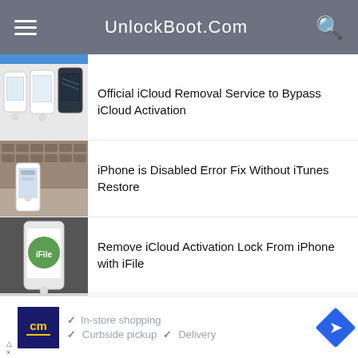UnlockBoot.Com
Official iCloud Removal Service to Bypass iCloud Activation
iPhone is Disabled Error Fix Without iTunes Restore
Remove iCloud Activation Lock From iPhone with iFile
10 Best Mac Torrent Sites in 2021 to Fulfill your Streaming...
✓ In-store shopping  ✓ Curbside pickup  ✓ Delivery